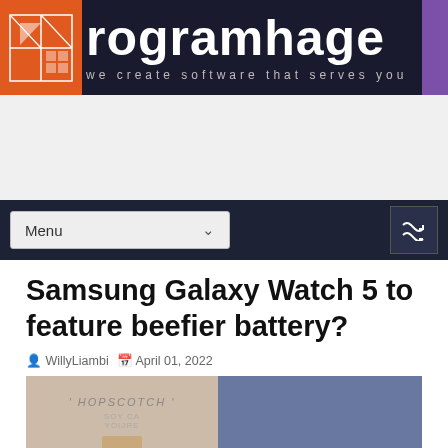ProgramHage — we create software that serves you
[Figure (screenshot): Navigation bar with Menu dropdown and shuffle icon]
Samsung Galaxy Watch 5 to feature beefier battery?
WillyLiambi  April 01, 2022
[Figure (photo): Product photo showing candle with 'HOPSCOTCH' label and blue background]